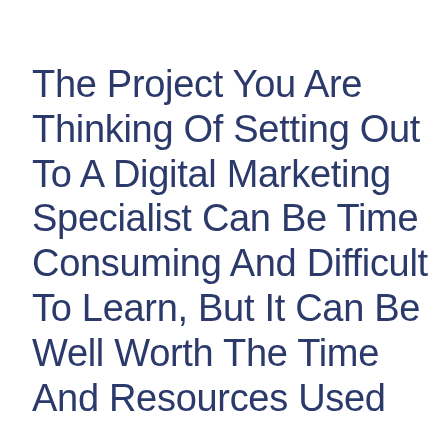The Project You Are Thinking Of Setting Out To A Digital Marketing Specialist Can Be Time Consuming And Difficult To Learn, But It Can Be Well Worth The Time And Resources Used